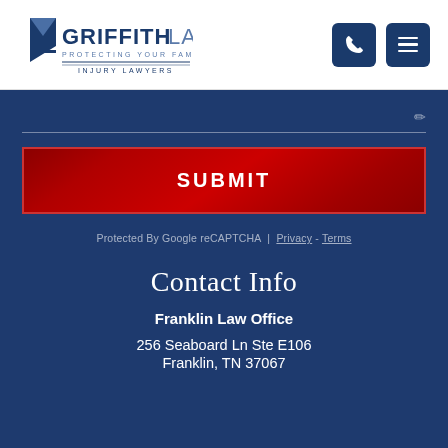Griffith Law - Protecting Your Family - Injury Lawyers
[Figure (screenshot): Text input field with edit icon and bottom border on dark blue background]
[Figure (screenshot): Red SUBMIT button with white bold uppercase text]
Protected By Google reCAPTCHA | Privacy - Terms
Contact Info
Franklin Law Office
256 Seaboard Ln Ste E106
Franklin, TN 37067